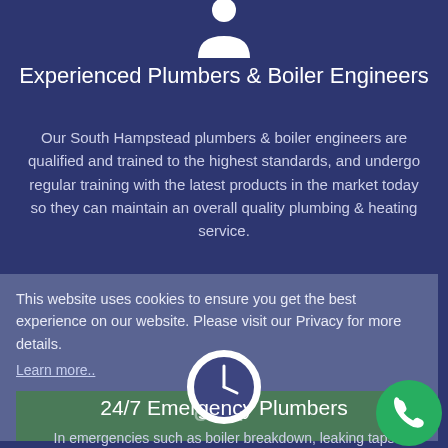[Figure (illustration): White plumber/person icon on dark blue background at top center]
Experienced Plumbers & Boiler Engineers
Our South Hampstead plumbers & boiler engineers are qualified and trained to the highest standards, and undergo regular training with the latest products in the market today so they can maintain an overall quality plumbing & heating service.
This website uses cookies to ensure you get the best experience on our website. Please visit our Privacy for more details.
Learn more..
[Figure (illustration): Clock icon circle overlaid on cookie banner]
Got it!
24/7 Emergency Plumbers
In emergencies such as boiler breakdown, leaking taps
[Figure (illustration): Green circle phone icon at bottom right]